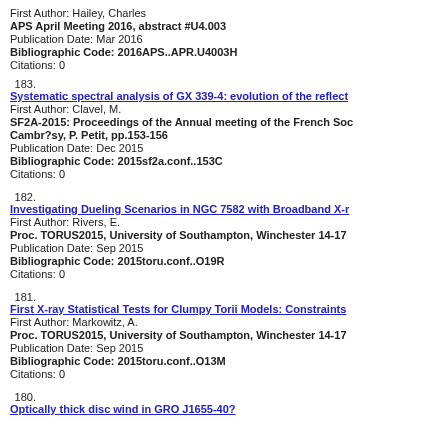First Author: Hailey, Charles
APS April Meeting 2016, abstract #U4.003
Publication Date: Mar 2016
Bibliographic Code: 2016APS..APR.U4003H
Citations: 0
183. Systematic spectral analysis of GX 339-4: evolution of the reflect...
First Author: Clavel, M.
SF2A-2015: Proceedings of the Annual meeting of the French Soc... Cambr?sy, P. Petit, pp.153-156
Publication Date: Dec 2015
Bibliographic Code: 2015sf2a.conf..153C
Citations: 0
182. Investigating Dueling Scenarios in NGC 7582 with Broadband X-r...
First Author: Rivers, E.
Proc. TORUS2015, University of Southampton, Winchester 14-17...
Publication Date: Sep 2015
Bibliographic Code: 2015toru.conf..O19R
Citations: 0
181. First X-ray Statistical Tests for Clumpy Torii Models: Constraints...
First Author: Markowitz, A.
Proc. TORUS2015, University of Southampton, Winchester 14-17...
Publication Date: Sep 2015
Bibliographic Code: 2015toru.conf..O13M
Citations: 0
180. Optically thick disc wind in GRO J1655-40?